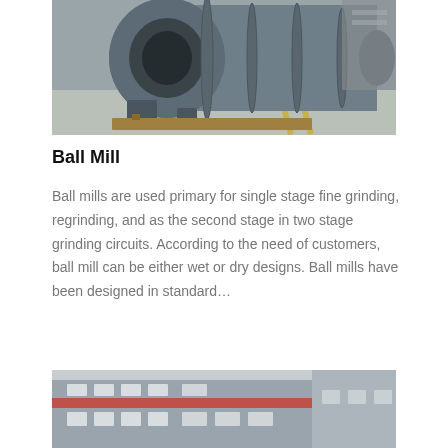[Figure (photo): Photograph of a large industrial ball mill machine, gray colored cylindrical drum with flanges, sitting on a warehouse floor.]
Ball Mill
Ball mills are used primary for single stage fine grinding, regrinding, and as the second stage in two stage grinding circuits. According to the need of customers, ball mill can be either wet or dry designs. Ball mills have been designed in standard…
[Figure (photo): Partial photograph of an industrial building exterior, gray facade with red stripe and windows, partially visible.]